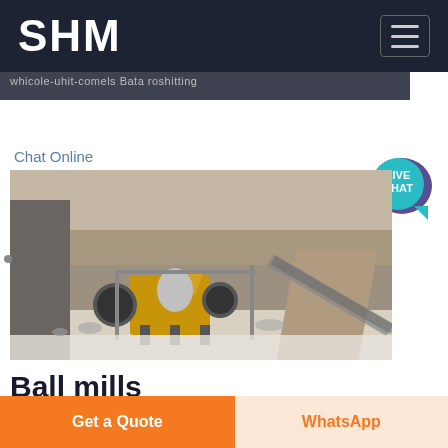SHM
whicole-uhit-comels Bata roshitting
[Figure (other): Live Chat bubble icon with teal circle and speech bubble tail]
Chat Online
[Figure (photo): Open pit mining site with industrial ball mill equipment, rocks, and earthworks in an outdoor quarry setting]
Ball mills
Outotec has designed manufactured and installed
Get a Quote
WhatsApp